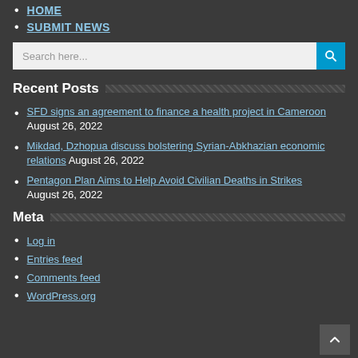HOME
SUBMIT NEWS
Recent Posts
SFD signs an agreement to finance a health project in Cameroon August 26, 2022
Mikdad, Dzhopua discuss bolstering Syrian-Abkhazian economic relations August 26, 2022
Pentagon Plan Aims to Help Avoid Civilian Deaths in Strikes August 26, 2022
Meta
Log in
Entries feed
Comments feed
WordPress.org